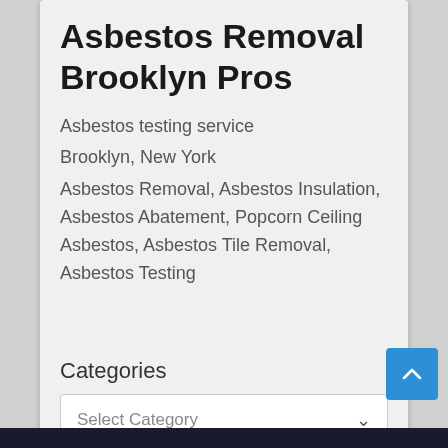Asbestos Removal Brooklyn Pros
Asbestos testing service
Brooklyn, New York
Asbestos Removal, Asbestos Insulation, Asbestos Abatement, Popcorn Ceiling Asbestos, Asbestos Tile Removal, Asbestos Testing
Categories
Select Category